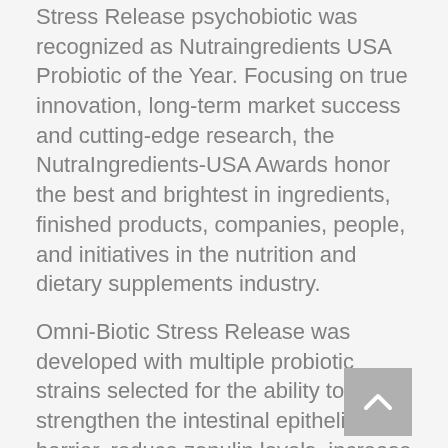Stress Release psychobiotic was recognized as Nutraingredients USA Probiotic of the Year. Focusing on true innovation, long-term market success and cutting-edge research, the NutraIngredients-USA Awards honor the best and brightest in ingredients, finished products, companies, people, and initiatives in the nutrition and dietary supplements industry.
Omni-Biotic Stress Release was developed with multiple probiotic strains selected for the ability to strengthen the intestinal epithelial barrier, reduce zonulin levels, increase short chain fatty acid and neurotransmitter production, as well as right-size inflammatory response. Randomized, controlled trials, including fMRI and self-report mechanisms, have further demonstrated significant outcomes including: improvements in mood, memory, stress response, cognitive function, and gastrointestinal comfort